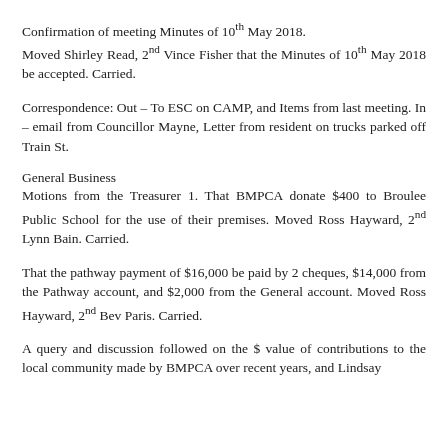Confirmation of meeting Minutes of 10th May 2018. Moved Shirley Read, 2nd Vince Fisher that the Minutes of 10th May 2018 be accepted. Carried.
Correspondence: Out – To ESC on CAMP, and Items from last meeting. In – email from Councillor Mayne, Letter from resident on trucks parked off Train St.
General Business
Motions from the Treasurer 1. That BMPCA donate $400 to Broulee Public School for the use of their premises. Moved Ross Hayward, 2nd Lynn Bain. Carried.
That the pathway payment of $16,000 be paid by 2 cheques, $14,000 from the Pathway account, and $2,000 from the General account. Moved Ross Hayward, 2nd Bev Paris. Carried.
A query and discussion followed on the $ value of contributions to the local community made by BMPCA over recent years, and Lindsay